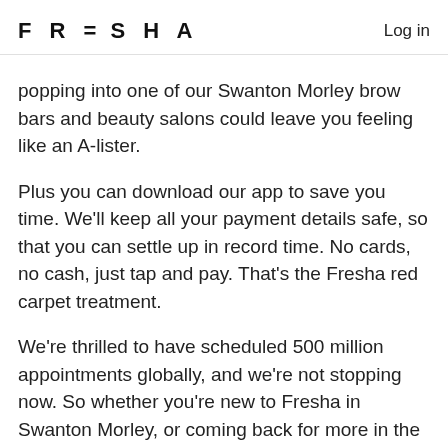FRESHA | Log in
popping into one of our Swanton Morley brow bars and beauty salons could leave you feeling like an A-lister.
Plus you can download our app to save you time. We'll keep all your payment details safe, so that you can settle up in record time. No cards, no cash, just tap and pay. That's the Fresha red carpet treatment.
We're thrilled to have scheduled 500 million appointments globally, and we're not stopping now. So whether you're new to Fresha in Swanton Morley, or coming back for more in the UK or abroad, it's so nice to have you here. Let us pair you with one of the 250,000 top-rated stylists and professionals currently using Fresha's free booking